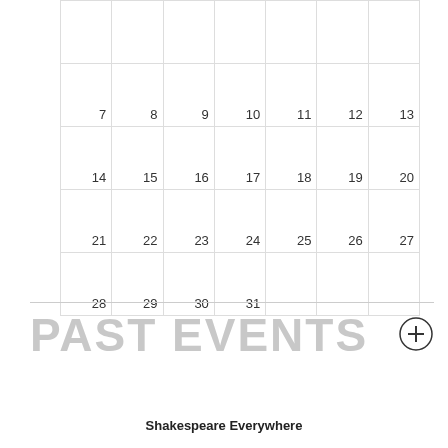|  |  |  |  |  |  |  |
| --- | --- | --- | --- | --- | --- | --- |
|  |  |  |  |  |  |  |
| 7 | 8 | 9 | 10 | 11 | 12 | 13 |
| 14 | 15 | 16 | 17 | 18 | 19 | 20 |
| 21 | 22 | 23 | 24 | 25 | 26 | 27 |
| 28 | 29 | 30 | 31 |  |  |  |
PAST EVENTS
Shakespeare Everywhere